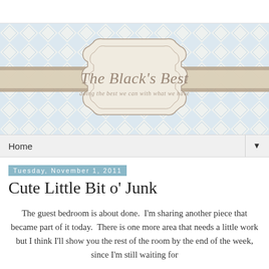[Figure (illustration): Blog header banner for 'The Black's Best' — decorative badge with script title text 'The Black's Best' and subtitle 'doing the best we can with what we have', on a blue diamond lattice patterned background with a tan/khaki horizontal stripe across the middle.]
Home ▼
Tuesday, November 1, 2011
Cute Little Bit o' Junk
The guest bedroom is about done.  I'm sharing another piece that became part of it today.  There is one more area that needs a little work but I think I'll show you the rest of the room by the end of the week, since I'm still waiting for